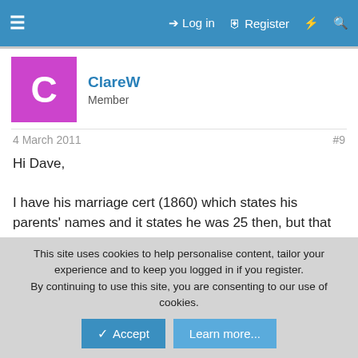≡  Log in  Register  ⚡  🔍
ClareW
Member
4 March 2011  #9
Hi Dave,

I have his marriage cert (1860) which states his parents' names and it states he was 25 then, but that makes it 1835 he was born. I have a copy of the book called 'early pioneers of mackay' which he is in and it states he was 'born about 1833'.
gibbo
Loyal Member
This site uses cookies to help personalise content, tailor your experience and to keep you logged in if you register.
By continuing to use this site, you are consenting to our use of cookies.